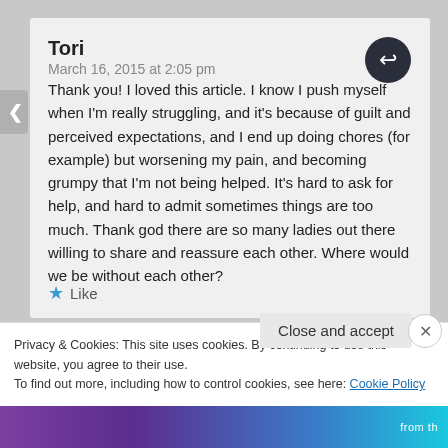Tori
March 16, 2015 at 2:05 pm
Thank you! I loved this article. I know I push myself when I'm really struggling, and it's because of guilt and perceived expectations, and I end up doing chores (for example) but worsening my pain, and becoming grumpy that I'm not being helped. It's hard to ask for help, and hard to admit sometimes things are too much. Thank god there are so many ladies out there willing to share and reassure each other. Where would we be without each other?
★ Like
Privacy & Cookies: This site uses cookies. By continuing to use this website, you agree to their use. To find out more, including how to control cookies, see here: Cookie Policy
Close and accept